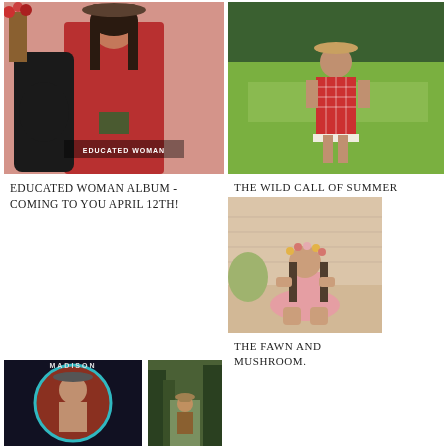[Figure (photo): Woman in red dress holding guitar and book, pink background, text EDUCATED WOMAN overlay]
[Figure (photo): Girl in red checkered dress standing in green field with hat]
Educated Woman Album - coming to you April 12th!
THE WILD CALL OF SUMMER
[Figure (photo): Woman in pink tutu with flower crown sitting on porch, vintage toned]
THE FAWN AND MUSHROOM.
[Figure (photo): Dark concert poster style image with woman in cowboy hat, circular design]
[Figure (photo): Person in hat standing in forest reading]